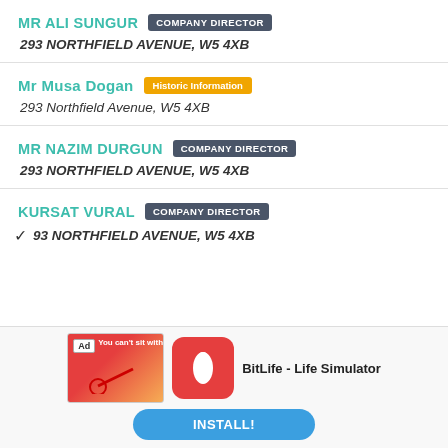MR ALI SUNGUR — COMPANY DIRECTOR
293 NORTHFIELD AVENUE, W5 4XB
Mr Musa Dogan — Historic Information
293 Northfield Avenue, W5 4XB
MR NAZIM DURGUN — COMPANY DIRECTOR
293 NORTHFIELD AVENUE, W5 4XB
KURSAT VURAL — COMPANY DIRECTOR
293 NORTHFIELD AVENUE, W5 4XB
[Figure (screenshot): Advertisement banner for BitLife - Life Simulator app with install button]